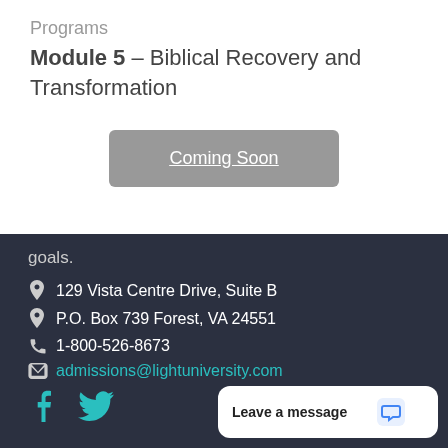Programs
Module 5 – Biblical Recovery and Transformation
[Figure (other): Coming Soon button (grey rounded rectangle with underlined white text)]
goals.
129 Vista Centre Drive, Suite B
P.O. Box 739 Forest, VA 24551
1-800-526-8673
admissions@lightuniversity.com
[Figure (other): Facebook and Twitter social media icons in teal]
Leave a message